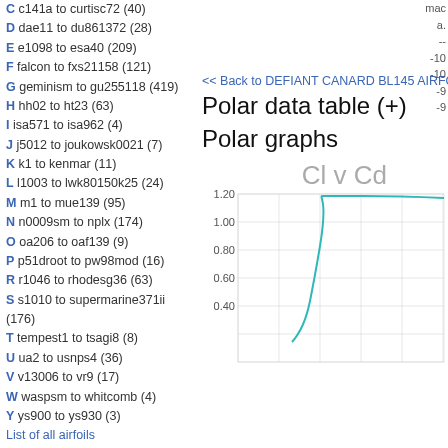C c141a to curtisc72 (40)
D dae11 to du861372 (28)
E e1098 to esa40 (209)
F falcon to fxs21158 (121)
G geminism to gu255118 (419)
H hh02 to ht23 (63)
I isa571 to isa962 (4)
J j5012 to joukowsk0021 (7)
K k1 to kenmar (11)
L l1003 to lwk80150k25 (24)
M m1 to mue139 (95)
N n0009sm to nplx (174)
O oa206 to oaf139 (9)
P p51droot to pw98mod (16)
R r1046 to rhodesg36 (63)
S s1010 to supermarine371ii (176)
T tempest1 to tsagi8 (8)
U ua2 to usnps4 (36)
V v13006 to vr9 (17)
W waspsm to whitcomb (4)
Y ys900 to ys930 (3)
List of all airfoils
Site
Home
Contact
Privacy Policy
<< Back to DEFIANT CANARD BL145 AIRFO
Polar data table (+)
Polar graphs
[Figure (continuous-plot): Cl v Cd polar graph showing a curve starting around 0.40 Cl, rising steeply to plateau around 1.10-1.15 Cl, with a teal/cyan colored line on a gridded chart]